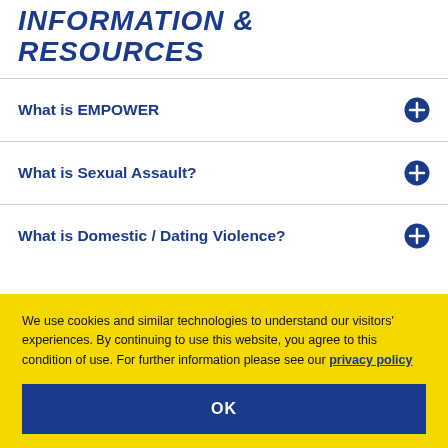INFORMATION & RESOURCES
What is EMPOWER
What is Sexual Assault?
What is Domestic / Dating Violence?
We use cookies and similar technologies to understand our visitors' experiences. By continuing to use this website, you agree to this condition of use. For further information please see our privacy policy
OK